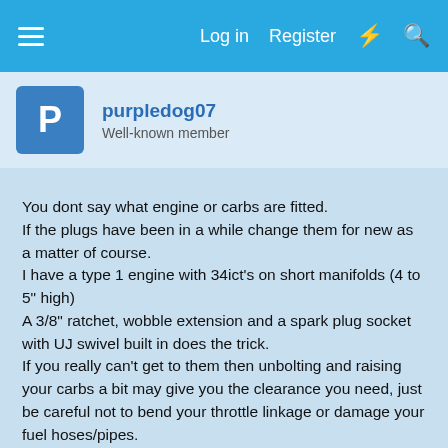Log in  Register
purpledog07
Well-known member
You dont say what engine or carbs are fitted.
If the plugs have been in a while change them for new as a matter of course.
I have a type 1 engine with 34ict's on short manifolds (4 to 5" high)
A 3/8" ratchet, wobble extension and a spark plug socket with UJ swivel built in does the trick.
If you really can't get to them then unbolting and raising your carbs a bit may give you the clearance you need, just be careful not to bend your throttle linkage or damage your fuel hoses/pipes.
Carb gaskets are fairly forgiving but if you have to remove the manifolds from the engine then get new gaskets ready to fit.
They are cheap and readily available. GSF usually have them